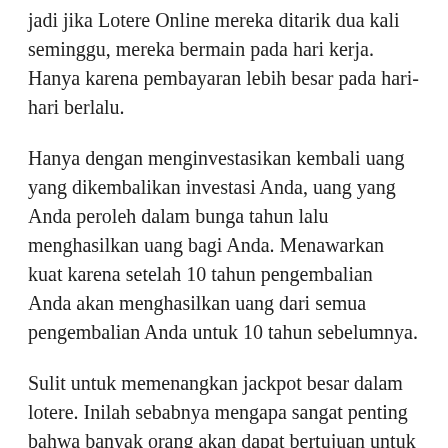jadi jika Lotere Online mereka ditarik dua kali seminggu, mereka bermain pada hari kerja. Hanya karena pembayaran lebih besar pada hari-hari berlalu.
Hanya dengan menginvestasikan kembali uang yang dikembalikan investasi Anda, uang yang Anda peroleh dalam bunga tahun lalu menghasilkan uang bagi Anda. Menawarkan kuat karena setelah 10 tahun pengembalian Anda akan menghasilkan uang dari semua pengembalian Anda untuk 10 tahun sebelumnya.
Sulit untuk memenangkan jackpot besar dalam lotere. Inilah sebabnya mengapa sangat penting bahwa banyak orang akan dapat bertujuan untuk menang dalam jumlah yang lebih kecil. Roda lotere adalah tempat untuk membantu Anda melakukan ini. Meskipun Anda akan menang dalam jumlah yang lebih kecil, masih dijamin memiliki peluang menang yang lebih baik dari yang lain. Ketika Anda mengumpulkan kemenangan alat dalam jumlah kecil, Anda akan